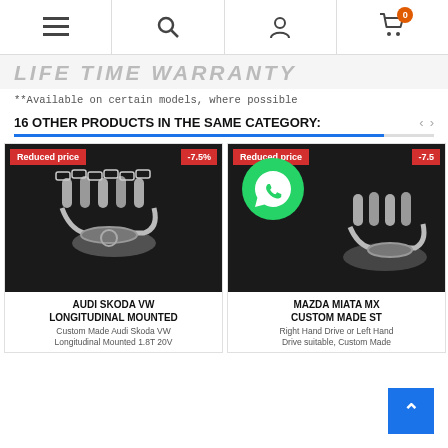Navigation bar with menu, search, account, and cart (0 items) icons
LIFE TIME WARRANTY
**Available on certain models, where possible
16 OTHER PRODUCTS IN THE SAME CATEGORY:
[Figure (photo): Product card 1: Audi Skoda VW exhaust manifold on black background, with 'Reduced price' and '-7.5%' badges]
AUDI SKODA VW LONGITUDINAL MOUNTED
Custom Made Audi Skoda VW Longitudinal Mounted 1.8T 20V
[Figure (photo): Product card 2: Mazda Miata MX exhaust manifold on black background with WhatsApp icon overlay, 'Reduced price' and '-7.5%' badges]
MAZDA MIATA MX CUSTOM MADE ST
Right Hand Drive or Left Hand Drive suitable, Custom Made